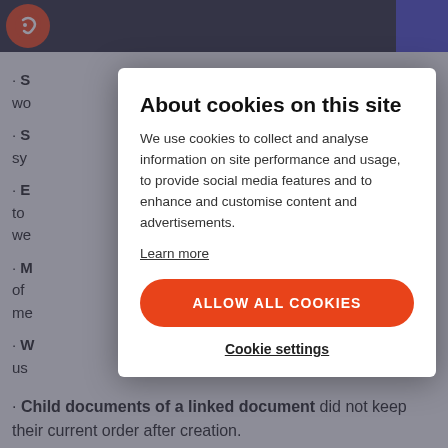[Figure (screenshot): Website cookie consent modal overlay on a webpage background. Background shows partial list items with bold labels. Modal shows 'About cookies on this site' dialog with allow and settings buttons.]
About cookies on this site
We use cookies to collect and analyse information on site performance and usage, to provide social media features and to enhance and customise content and advertisements.
Learn more
ALLOW ALL COOKIES
Cookie settings
Child documents of a linked document did not keep their current order after creation.
Output filter did not handle conditional comments properly.
WYSIWYG editor - Inserting e-mail link did not work